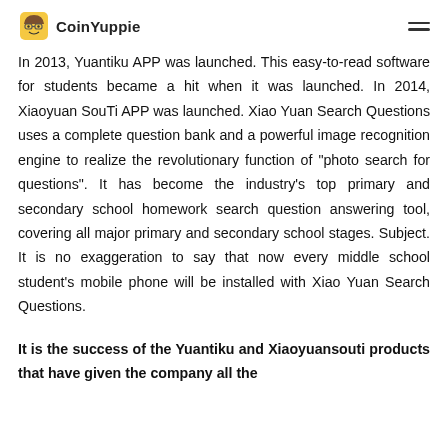CoinYuppie
In 2013, Yuantiku APP was launched. This easy-to-read software for students became a hit when it was launched. In 2014, Xiaoyuan SouTi APP was launched. Xiao Yuan Search Questions uses a complete question bank and a powerful image recognition engine to realize the revolutionary function of “photo search for questions”. It has become the industry’s top primary and secondary school homework search question answering tool, covering all major primary and secondary school stages. Subject. It is no exaggeration to say that now every middle school student’s mobile phone will be installed with Xiao Yuan Search Questions.
It is the success of the Yuantiku and Xiaoyuansouti products that have given the company all the